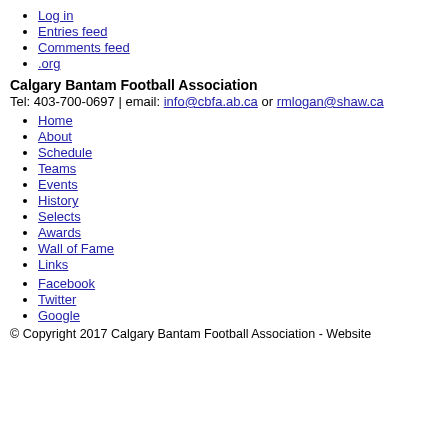Log in
Entries feed
Comments feed
.org
Calgary Bantam Football Association
Tel: 403-700-0697 | email: info@cbfa.ab.ca or rmlogan@shaw.ca
Home
About
Schedule
Teams
Events
History
Selects
Awards
Wall of Fame
Links
Facebook
Twitter
Google
© Copyright 2017 Calgary Bantam Football Association - Website